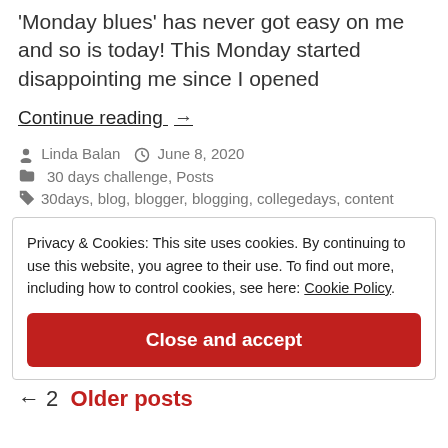'Monday blues' has never got easy on me and so is today! This Monday started disappointing me since I opened
Continue reading →
By Linda Balan  June 8, 2020
30 days challenge, Posts
30days, blog, blogger, blogging, collegedays, content
Privacy & Cookies: This site uses cookies. By continuing to use this website, you agree to their use. To find out more, including how to control cookies, see here: Cookie Policy
Close and accept
← 2    Older posts